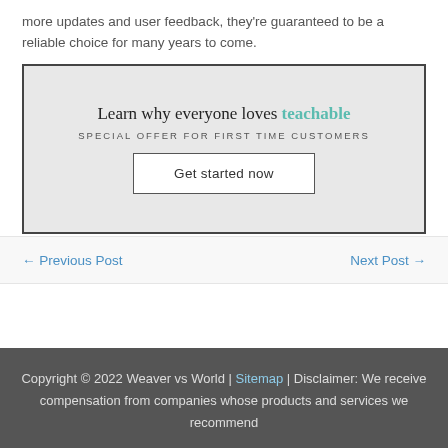more updates and user feedback, they're guaranteed to be a reliable choice for many years to come.
[Figure (infographic): Teachable advertisement banner with headline 'Learn why everyone loves teachable', subheading 'SPECIAL OFFER FOR FIRST TIME CUSTOMERS', and a 'Get started now' call-to-action button on a light grey background.]
← Previous Post
Next Post →
Copyright © 2022 Weaver vs World | Sitemap | Disclaimer: We receive compensation from companies whose products and services we recommend